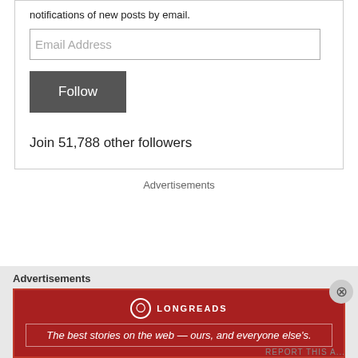notifications of new posts by email.
[Figure (screenshot): Email Address input field]
[Figure (screenshot): Follow button (dark grey)]
Join 51,788 other followers
Advertisements
Advertisements
[Figure (infographic): Longreads advertisement banner: 'The best stories on the web — ours, and everyone else's.']
REPORT THIS A...